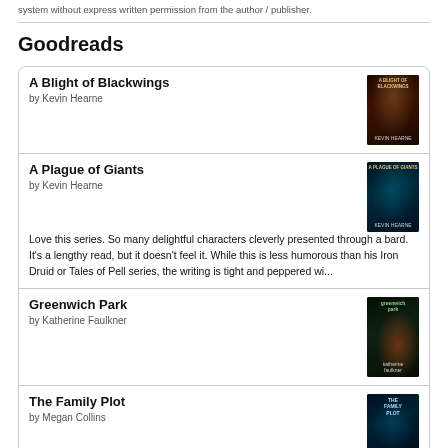system without express written permission from the author / publisher.
Goodreads
A Blight of Blackwings
by Kevin Hearne
A Plague of Giants
by Kevin Hearne
Love this series. So many delightful characters cleverly presented through a bard. It's a lengthy read, but it doesn't feel it. While this is less humorous than his Iron Druid or Tales of Pell series, the writing is tight and peppered wi...
Greenwich Park
by Katherine Faulkner
The Family Plot
by Megan Collins